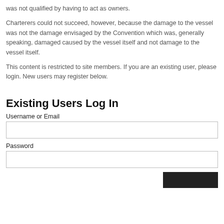was not qualified by having to act as owners.
Charterers could not succeed, however, because the damage to the vessel was not the damage envisaged by the Convention which was, generally speaking, damaged caused by the vessel itself and not damage to the vessel itself.
This content is restricted to site members. If you are an existing user, please login. New users may register below.
Existing Users Log In
Username or Email
Password